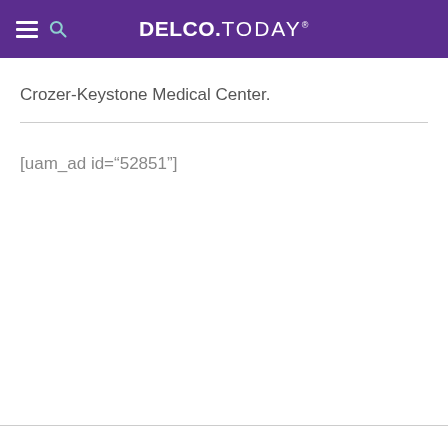DELCO.TODAY
Crozer-Keystone Medical Center.
[uam_ad id="52851"]